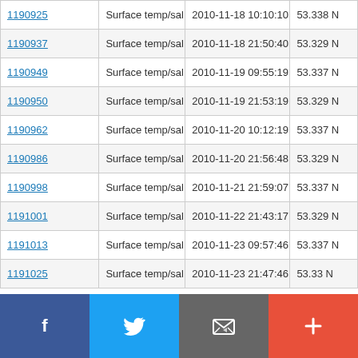|  | Surface temp/sal | Date/Time | Lat |
| --- | --- | --- | --- |
| 1190925 | Surface temp/sal | 2010-11-18 10:10:10 | 53.338 N |
| 1190937 | Surface temp/sal | 2010-11-18 21:50:40 | 53.329 N |
| 1190949 | Surface temp/sal | 2010-11-19 09:55:19 | 53.337 N |
| 1190950 | Surface temp/sal | 2010-11-19 21:53:19 | 53.329 N |
| 1190962 | Surface temp/sal | 2010-11-20 10:12:19 | 53.337 N |
| 1190986 | Surface temp/sal | 2010-11-20 21:56:48 | 53.329 N |
| 1190998 | Surface temp/sal | 2010-11-21 21:59:07 | 53.337 N |
| 1191001 | Surface temp/sal | 2010-11-22 21:43:17 | 53.329 N |
| 1191013 | Surface temp/sal | 2010-11-23 09:57:46 | 53.337 N |
| 1191025 | Surface temp/sal | 2010-11-23 21:47:46 | 53.33 N |